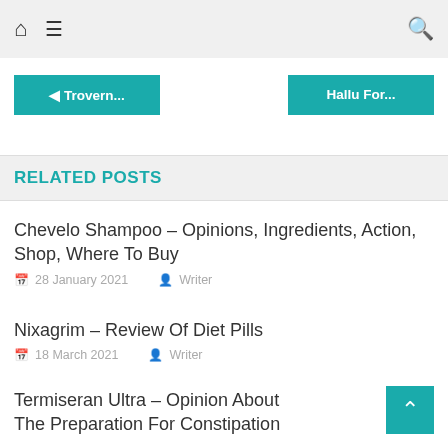🏠 ☰ 🔍
◄ Trovern...
Hallu For...
RELATED POSTS
Chevelo Shampoo – Opinions, Ingredients, Action, Shop, Where To Buy
28 January 2021   Writer
Nixagrim – Review Of Diet Pills
18 March 2021   Writer
Termiseran Ultra – Opinion About The Preparation For Constipation